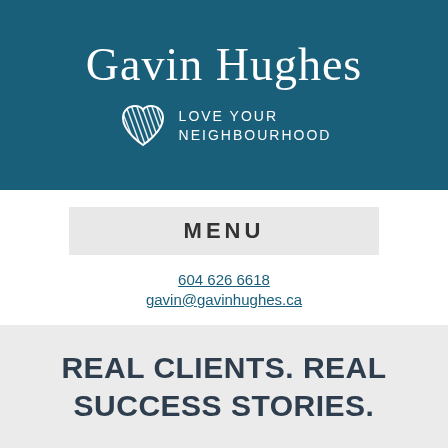[Figure (logo): Gavin Hughes real estate logo on dark teal/blue background. Large text 'Gavin Hughes' with a heart icon made of diagonal white lines and tagline 'LOVE YOUR NEIGHBOURHOOD' in white capital letters.]
MENU
604 626 6618
gavin@gavinhughes.ca
REAL CLIENTS. REAL SUCCESS STORIES.